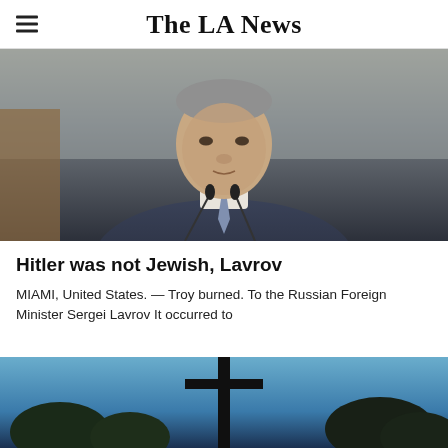The LA News
[Figure (photo): Man in dark suit standing at a podium with microphones, photographed from chest up, grey/blue background, formal setting]
Hitler was not Jewish, Lavrov
MIAMI, United States. — Troy burned. To the Russian Foreign Minister Sergei Lavrov It occurred to
[Figure (photo): Dark photo showing a cross silhouetted against a blue sky with trees in the background]